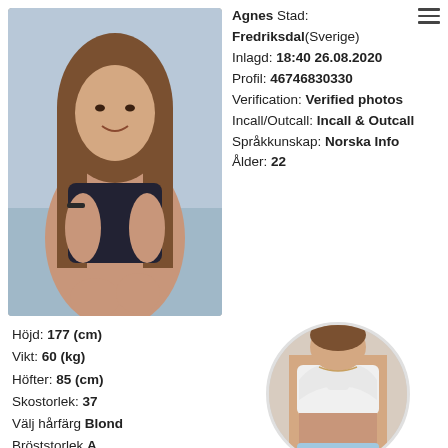[Figure (photo): Young woman with long brown hair sitting outdoors near water, wearing black off-shoulder top]
Agnes Stad: Fredriksdal(Sverige)
Inlagd: 18:40 26.08.2020
Profil: 46746830330
Verification: Verified photos
Incall/Outcall: Incall & Outcall
Språkkunskap: Norska Info
Ålder: 22
Höjd: 177 (cm)
Vikt: 60 (kg)
Höfter: 85 (cm)
Skostorlek: 37
Välj hårfärg Blond
Bröststorlek A
[Figure (photo): Circular thumbnail photo of a woman lifting her top]